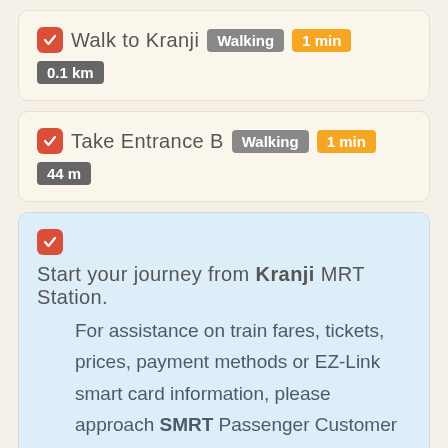Walk to Kranji  Walking  1 min  0.1 km
Take Entrance B  Walking  1 min  44 m
Start your journey from Kranji MRT Station. For assistance on train fares, tickets, prices, payment methods or EZ-Link smart card information, please approach SMRT Passenger Customer Service Counter at the station or refer to official SMRT website for details.
Take North South Line train towards Marina South Pier for 31 stations to Marina South Pier.